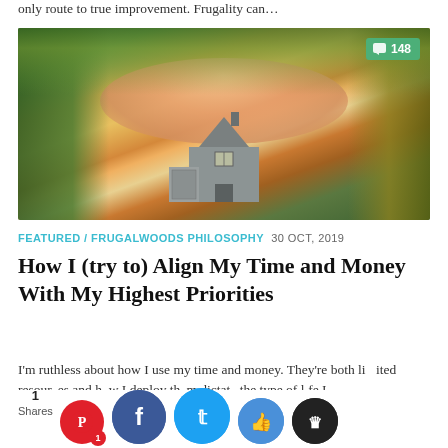only route to true improvement. Frugality can...
[Figure (photo): Autumn landscape photo showing a gray house/barn with garage surrounded by fall foliage trees in orange, yellow, and green with a pink/orange sunset sky. Comment badge showing 148 in green in top-right corner.]
FEATURED / FRUGALWOODS PHILOSOPHY  30 OCT, 2019
How I (try to) Align My Time and Money With My Highest Priorities
I'm ruthless about how I use my time and money. They're both limited resources and how I deploy them dictate the type of life I lead. Frugality doesn't... I never waste m... and ti...
1
Shares